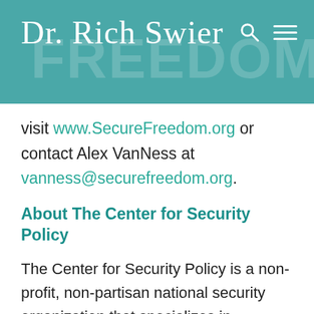Dr. Rich Swier
visit www.SecureFreedom.org or contact Alex VanNess at vanness@securefreedom.org.
About The Center for Security Policy
The Center for Security Policy is a non-profit, non-partisan national security organization that specializes in identifying policies, actions, and resource needs that are vital to American security and then ensures that such issues are the subject of both focused, principled examination and effective action by recognized policy experts, appropriate officials, opinion leaders and the news media. For